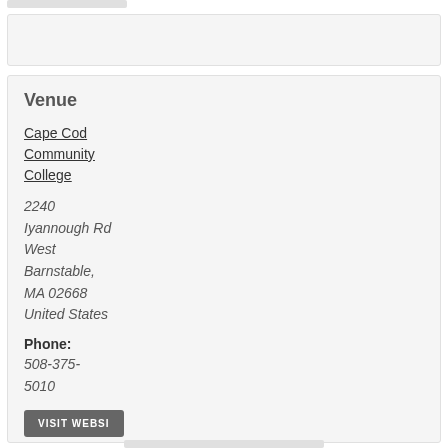[Figure (other): Gray top bar element]
[Figure (other): Gray empty box at top]
Venue
Cape Cod Community College
2240
Iyannough Rd
West Barnstable,
MA 02668
United States
Phone:
508-375-5010
VISIT WEBSI